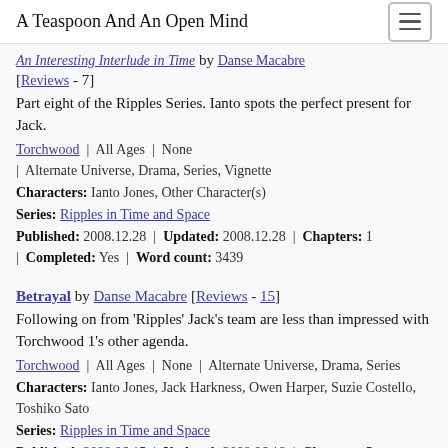A Teaspoon And An Open Mind
An Interesting Interlude in Time by Danse Macabre [Reviews - 7]
Part eight of the Ripples Series. Ianto spots the perfect present for Jack.
Torchwood | All Ages | None | Alternate Universe, Drama, Series, Vignette
Characters: Ianto Jones, Other Character(s)
Series: Ripples in Time and Space
Published: 2008.12.28 | Updated: 2008.12.28 | Chapters: 1 | Completed: Yes | Word count: 3439
Betrayal by Danse Macabre [Reviews - 15]
Following on from 'Ripples' Jack's team are less than impressed with Torchwood 1's other agenda.
Torchwood | All Ages | None | Alternate Universe, Drama, Series
Characters: Ianto Jones, Jack Harkness, Owen Harper, Suzie Costello, Toshiko Sato
Series: Ripples in Time and Space
Published: 2008.06.15 | Updated: 2008.06.18 | Chapters: 5 | Completed: Yes | Word count: 5620